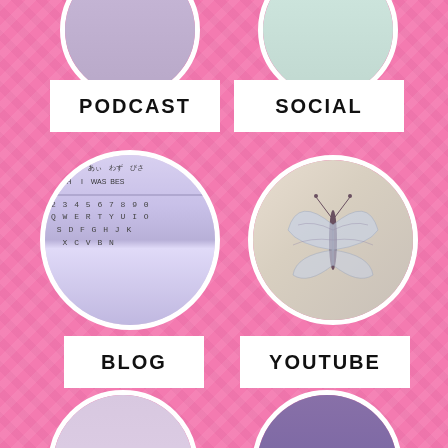[Figure (photo): Circular cropped image top-left, partially cut off at top]
[Figure (photo): Circular cropped image top-right, partially cut off at top]
PODCAST
SOCIAL
[Figure (photo): Circular image of a phone keyboard showing Japanese and English text: うぃしゅ あぃ わず びさ / WISH I WAS BES, with QWERTY keyboard layout below]
[Figure (photo): Circular image of a butterfly on skin/fabric, pale blue-white butterfly with spread wings]
BLOG
YOUTUBE
[Figure (photo): Circular image bottom-left, partially cut off, showing light purple/lavender fabric or clothing]
[Figure (photo): Circular image bottom-right, partially cut off, showing dark purple background with lighter elements]